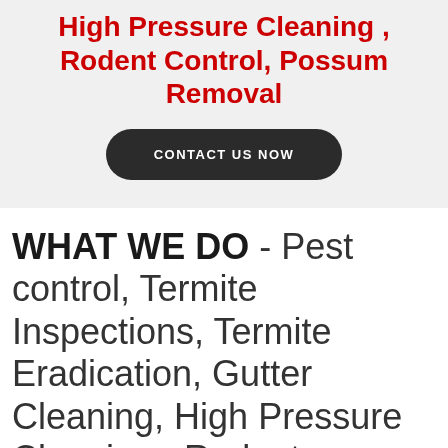High Pressure Cleaning , Rodent Control, Possum Removal
CONTACT US NOW
WHAT WE DO - Pest control, Termite Inspections, Termite Eradication, Gutter Cleaning, High Pressure Cleaning , Rodent Control, Possum Removal